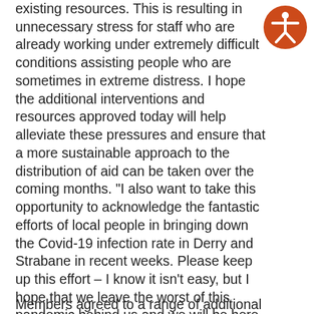existing resources. This is resulting in unnecessary stress for staff who are already working under extremely difficult conditions assisting people who are sometimes in extreme distress. I hope the additional interventions and resources approved today will help alleviate these pressures and ensure that a more sustainable approach to the distribution of aid can be taken over the coming months. "I also want to take this opportunity to acknowledge the fantastic efforts of local people in bringing down the Covid-19 infection rate in Derry and Strabane in recent weeks. Please keep up this effort – I know it isn't easy, but I hope that we leave the worst of this pandemic behind us and we will be here to support you as we hopefully now move towards recovery."
[Figure (illustration): Orange circle with white accessibility icon (person with arms outstretched) in top right corner]
Members agreed to a range of additional